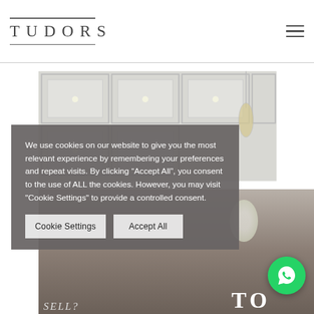TUDORS
[Figure (photo): Interior design photo showing coffered white ceiling with recessed lighting, pendant chandelier, and kitchen area with flowers and bar stools. Below that, partial view of living room furniture.]
We use cookies on our website to give you the most relevant experience by remembering your preferences and repeat visits. By clicking “Accept All”, you consent to the use of ALL the cookies. However, you may visit "Cookie Settings" to provide a controlled consent.
Cookie Settings
Accept All
[Figure (logo): WhatsApp contact button (green circle with phone icon)]
TO